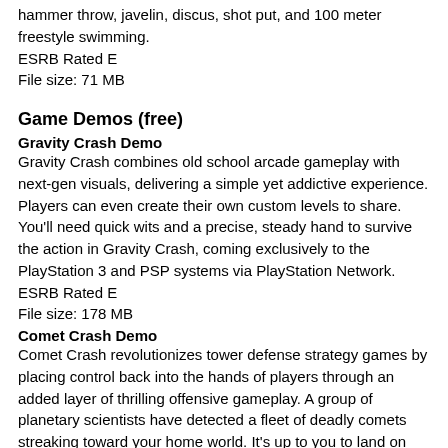hammer throw, javelin, discus, shot put, and 100 meter freestyle swimming.
ESRB Rated E
File size: 71 MB
Game Demos (free)
Gravity Crash Demo
Gravity Crash combines old school arcade gameplay with next-gen visuals, delivering a simple yet addictive experience. Players can even create their own custom levels to share. You'll need quick wits and a precise, steady hand to survive the action in Gravity Crash, coming exclusively to the PlayStation 3 and PSP systems via PlayStation Network.
ESRB Rated E
File size: 178 MB
Comet Crash Demo
Comet Crash revolutionizes tower defense strategy games by placing control back into the hands of players through an added layer of thrilling offensive gameplay. A group of planetary scientists have detected a fleet of deadly comets streaking toward your home world. It's up to you to land on each comet and battle the alien forces controlling each one to prevent world from destruction.